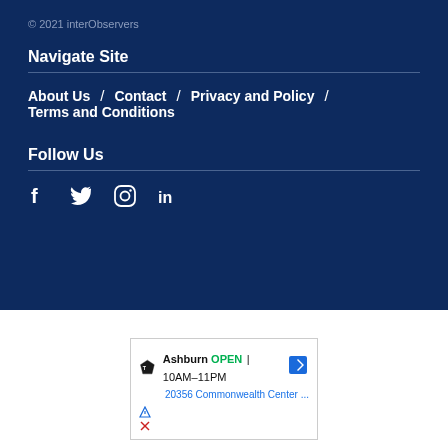© 2021 interObservers
Navigate Site
About Us  /  Contact  /  Privacy and Policy  /  Terms and Conditions
Follow Us
[Figure (infographic): Social media icons: Facebook (f), Twitter (bird), Instagram (circle/camera), LinkedIn (in)]
[Figure (screenshot): Advertisement: Topgolf Ashburn OPEN 10AM-11PM, 20356 Commonwealth Center ...]